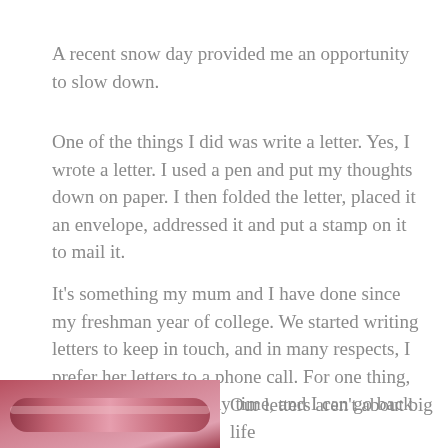A recent snow day provided me an opportunity to slow down.
One of the things I did was write a letter. Yes, I wrote a letter. I used a pen and put my thoughts down on paper. I then folded the letter, placed it an envelope, addressed it and put a stamp on it to mail it.
It’s something my mum and I have done since my freshman year of college. We started writing letters to keep in touch, and in many respects, I prefer her letters to a phone call. For one thing, I can read the letter any time, and I can go back and reread it.
[Figure (photo): Partial photo of a pink/red crayon or cylindrical object visible at the bottom left of the page]
Our letters aren’t about big life